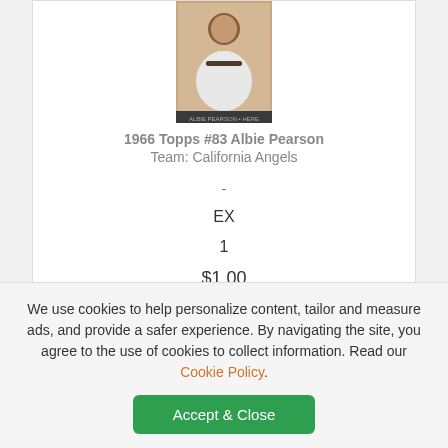[Figure (photo): Baseball card image of Albie Pearson in a white jersey]
1966 Topps #83 Albie Pearson
Team: California Angels
-
EX
1
$1.00
ADD TO CART
[Figure (other): Accessibility icon - orange circle with person figure]
We use cookies to help personalize content, tailor and measure ads, and provide a safer experience. By navigating the site, you agree to the use of cookies to collect information. Read our Cookie Policy.
Accept & Close